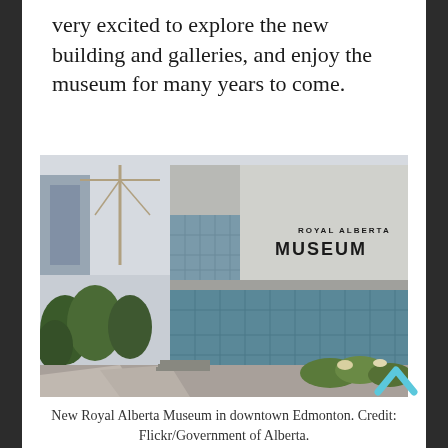very excited to explore the new building and galleries, and enjoy the museum for many years to come.
[Figure (photo): Exterior photograph of the Royal Alberta Museum in downtown Edmonton, showing the modern concrete building with large glass windows, trees and landscaping in the foreground, and a construction crane in the background.]
New Royal Alberta Museum in downtown Edmonton. Credit: Flickr/Government of Alberta.